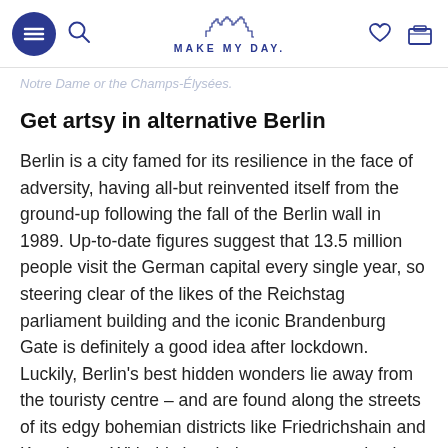MAKE MY DAY
Notre Dame or the Champs-Élysées.
Get artsy in alternative Berlin
Berlin is a city famed for its resilience in the face of adversity, having all-but reinvented itself from the ground-up following the fall of the Berlin wall in 1989. Up-to-date figures suggest that 13.5 million people visit the German capital every single year, so steering clear of the likes of the Reichstag parliament building and the iconic Brandenburg Gate is definitely a good idea after lockdown. Luckily, Berlin's best hidden wonders lie away from the touristy centre – and are found along the streets of its edgy bohemian districts like Friedrichshain and Kreuzberg. With this in mind, we recommend going